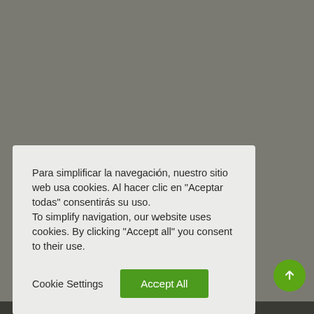[Figure (screenshot): Gray webpage background with cookie consent dialog overlay and green scroll-to-top button]
Para simplificar la navegación, nuestro sitio web usa cookies. Al hacer clic en "Aceptar todas" consentirás su uso.
To simplify navigation, our website uses cookies. By clicking "Accept all" you consent to their use.
Cookie Settings
Accept All